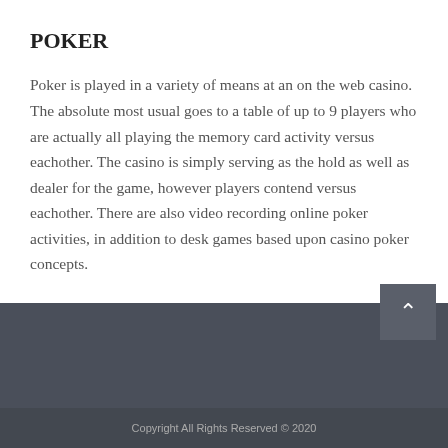POKER
Poker is played in a variety of means at an on the web casino. The absolute most usual goes to a table of up to 9 players who are actually all playing the memory card activity versus eachother. The casino is simply serving as the hold as well as dealer for the game, however players contend versus eachother. There are also video recording online poker activities, in addition to desk games based upon casino poker concepts.
Copyright All Rights Reserved © 2020